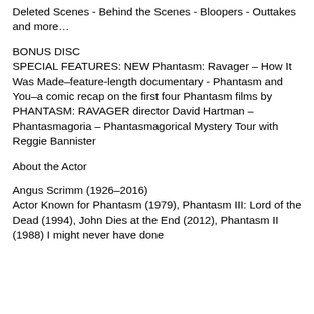Deleted Scenes - Behind the Scenes - Bloopers - Outtakes and more…
BONUS DISC
SPECIAL FEATURES: NEW Phantasm: Ravager – How It Was Made–feature-length documentary - Phantasm and You–a comic recap on the first four Phantasm films by PHANTASM: RAVAGER director David Hartman – Phantasmagoria – Phantasmagorical Mystery Tour with Reggie Bannister
About the Actor
Angus Scrimm (1926–2016)
Actor Known for Phantasm (1979), Phantasm III: Lord of the Dead (1994), John Dies at the End (2012), Phantasm II (1988) I might never have done